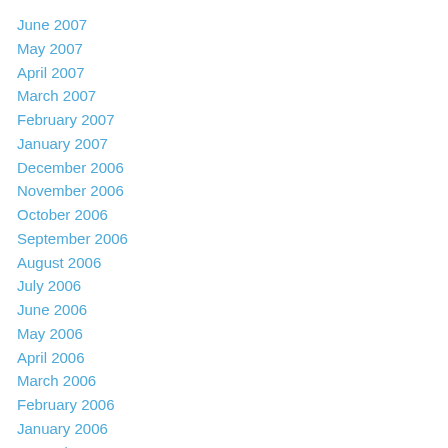June 2007
May 2007
April 2007
March 2007
February 2007
January 2007
December 2006
November 2006
October 2006
September 2006
August 2006
July 2006
June 2006
May 2006
April 2006
March 2006
February 2006
January 2006
December 2005
November 2005